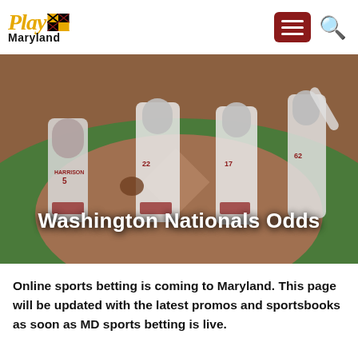Play Maryland
[Figure (photo): Washington Nationals baseball players in white uniforms celebrating on field. Player Harrison #5 visible on left, players #22, #17, and #62 also visible. Text overlay reads 'Washington Nationals Odds'.]
Washington Nationals Odds
Online sports betting is coming to Maryland. This page will be updated with the latest promos and sportsbooks as soon as MD sports betting is live.